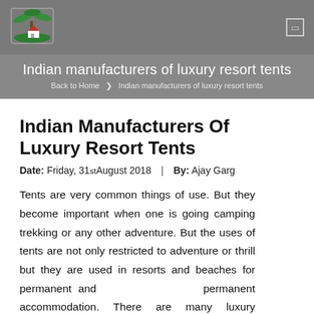[Figure (logo): Green palm tree / house logo on grey navigation bar]
Indian manufacturers of luxury resort tents
Back to Home  ❯  Indian manufacturers of luxury resort tents
Indian Manufacturers Of Luxury Resort Tents
Date: Friday, 31st August 2018   |   By: Ajay Garg
Tents are very common things of use. But they become important when one is going camping trekking or any other adventure. But the uses of tents are not only restricted to adventure or thrill but they are used in resorts and beaches for permanent and permanent accommodation. There are many luxury resorts available for this purpose. These tents are very luxurious and contain every facility of comfort. Such tents are commonly used in resorts restaurants, beaches, golf course, and farmhouse. They provide accommodation along with comfort. There are many